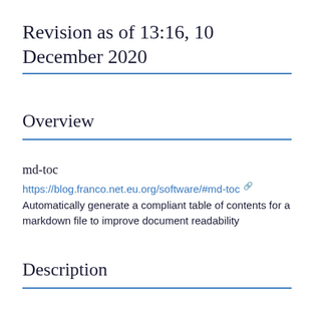Revision as of 13:16, 10 December 2020
Overview
md-toc
https://blog.franco.net.eu.org/software/#md-toc
Automatically generate a compliant table of contents for a markdown file to improve document readability
Description